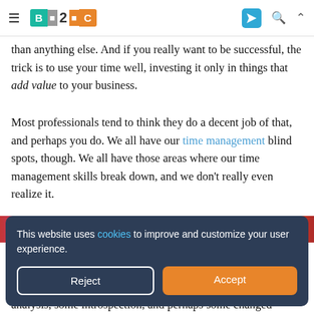B2C — navigation bar with hamburger menu, B2C logo, Telegram icon, search icon, up arrow
than anything else. And if you really want to be successful, the trick is to use your time well, investing it only in things that add value to your business.
Most professionals tend to think they do a decent job of that, and perhaps you do. We all have our time management blind spots, though. We all have those areas where our time management skills break down, and we don't really even realize it.
[Figure (screenshot): Colorful image strip partially visible behind cookie banner]
This website uses cookies to improve and customize your user experience.
analysis, some introspection, and perhaps some changed